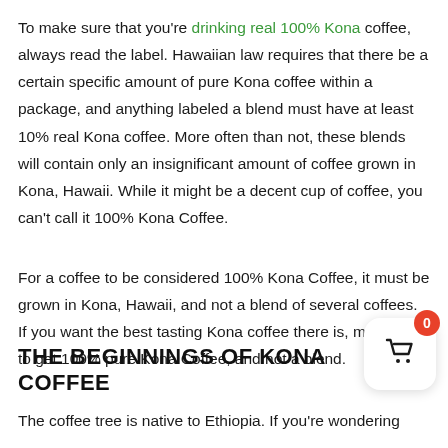To make sure that you're drinking real 100% Kona coffee, always read the label. Hawaiian law requires that there be a certain specific amount of pure Kona coffee within a package, and anything labeled a blend must have at least 10% real Kona coffee. More often than not, these blends will contain only an insignificant amount of coffee grown in Kona, Hawaii. While it might be a decent cup of coffee, you can't call it 100% Kona Coffee.
For a coffee to be considered 100% Kona Coffee, it must be grown in Kona, Hawaii, and not a blend of several coffees. If you want the best tasting Kona coffee there is, make sure to get 100% pure Kona Coffee, and not a blend.
THE BEGINNINGS OF KONA COFFEE
The coffee tree is native to Ethiopia. If you're wondering